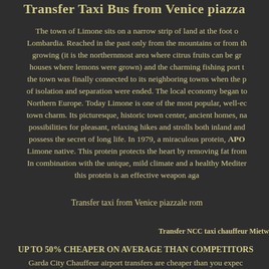Transfer Taxi Bus from Venice piazza
The town of Limone sits on a narrow strip of land at the foot of Lombardia. Reached in the past only from the mountains or from the growing (it is the northernmost area where citrus fruits can be grown houses where lemons were grown) and the charming fishing port the town was finally connected to its neighboring towns when the p of isolation and separation were ended. The local economy began to Northern Europe. Today Limone is one of the most popular, well-ed town charm. Its picturesque, historic town center, ancient homes, na possibilities for pleasant, relaxing hikes and strolls both inland and possess the secret of long life. In 1979, a miraculous protein, APO Limone native. This protein protects the heart by removing fat from In combination with the unique, mild climate and a healthy Mediter this protein is an effective weapon aga
Transfer taxi from Venice piazzale rom
Transfer NCC taxi chauffeur Mietw
UP TO 50% CHEAPER ON AVERAGE THAN COMPETITORS Garda City Chauffeur airport transfers are cheaper than you expec Malpensa, Verona, Bologna, Parma, Florence, Venedig, Rimini, Pi can help make your airport journey stress free. You can book your